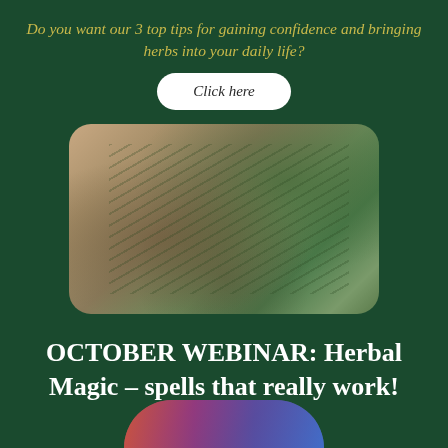Do you want our 3 top tips for gaining confidence and bringing herbs into your daily life?
Click here
[Figure (photo): Overhead flat-lay photo of herbs, dried plants, and a glass jar on a wooden surface, with rounded corners]
OCTOBER WEBINAR: Herbal Magic – spells that really work!
Book a place
[Figure (photo): Partial colorful image peeking from bottom of page, appears to show fabric or flowers in red, purple, and blue tones]